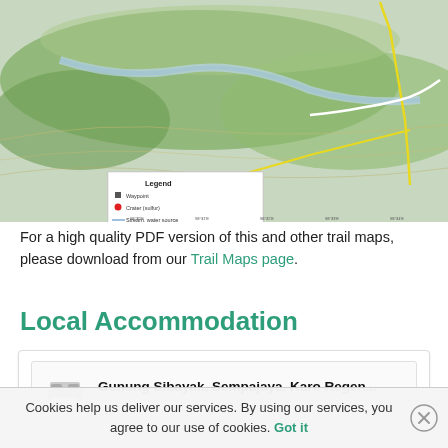[Figure (map): Topographic hiking route map of Gunung Sibayak (Pintau) showing trails, legend, QR code, and map annotations with contour lines and satellite imagery base.]
For a high quality PDF version of this and other trail maps, please download from our Trail Maps page.
Local Accommodation
Gunung Sibayak, Sempajaya, Karo Regen...
Cookies help us deliver our services. By using our services, you agree to our use of cookies. Got it